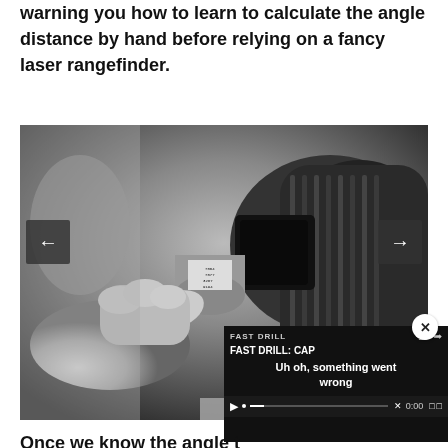warning you how to learn to calculate the angle distance by hand before relying on a fancy laser rangefinder.
[Figure (photo): Black and white close-up photograph of a hand holding a rifle scope or optical rangefinder, showing detailed numerical markings on the dial. Navigation arrows (left and right) are overlaid on the image.]
[Figure (screenshot): Video player overlay showing 'FAST DRILL: CAP' title with an error message 'Uh oh, something went wrong' and video controls including play button, seek bar, mute, time display (0:00), and fullscreen button.]
Once we know the angle t